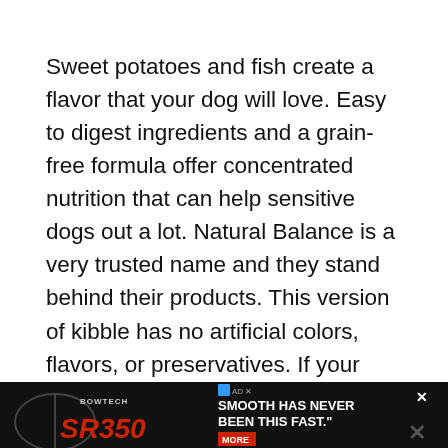Sweet potatoes and fish create a flavor that your dog will love. Easy to digest ingredients and a grain-free formula offer concentrated nutrition that can help sensitive dogs out a lot. Natural Balance is a very trusted name and they stand behind their products. This version of kibble has no artificial colors, flavors, or preservatives. If your dog has skin allergies then a fish based dog food can be the answer to their woes.
While adding any fish oil to their diet is good, it convenient when there is a source already in th daily food. In fact, while fish is a main ingredient, th...
[Figure (screenshot): Advertisement banner at the bottom showing Bowtech SR350 bow with text 'SMOOTH HAS NEVER BEEN THIS FAST.' and a MORE button]